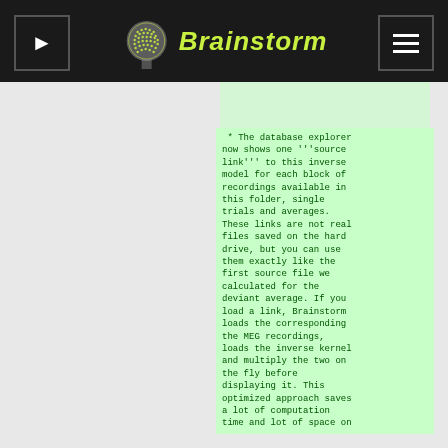Brainstorm
* The database explorer now shows one '''source link''' to this inverse model for each block of recordings available in this folder, single trials and averages. These links are not real files saved on the hard drive, but you can use them exactly like the first source file we calculated for the deviant average. If you load a link, Brainstorm loads the corresponding the MEG recordings, loads the inverse kernel and multiply the two on the fly before displaying it. This optimized approach saves a lot of computation time and lot of space on